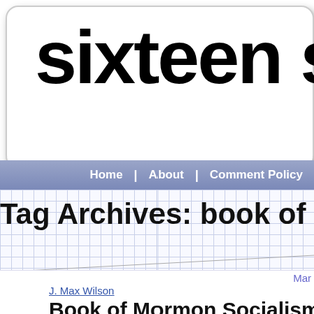sixteen s
Home | About | Comment Policy
Tag Archives: book of mor
Mar
J. Max Wilson
Book of Mormon Socialism: The Marx Gadianton Robbers
of Socialism like to compare capitali